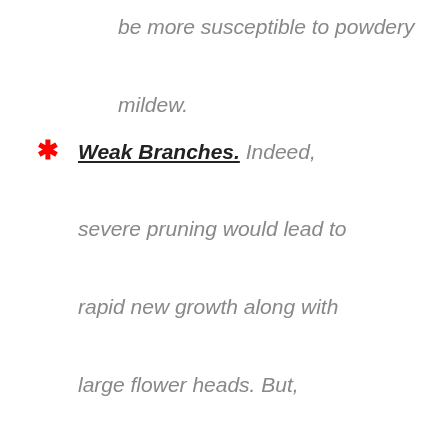be more susceptible to powdery mildew.
Weak Branches. Indeed, severe pruning would lead to rapid new growth along with large flower heads. But, unfortunately, these new branches are weak and long wherein they couldn't support the weight of the flowers. And sometimes, these branches